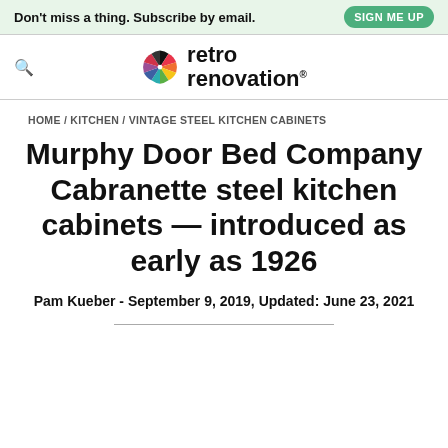Don't miss a thing. Subscribe by email. SIGN ME UP
[Figure (logo): Retro Renovation logo with colorful pinwheel icon and text 'retro renovation']
HOME / KITCHEN / VINTAGE STEEL KITCHEN CABINETS
Murphy Door Bed Company Cabranette steel kitchen cabinets — introduced as early as 1926
Pam Kueber - September 9, 2019, Updated: June 23, 2021